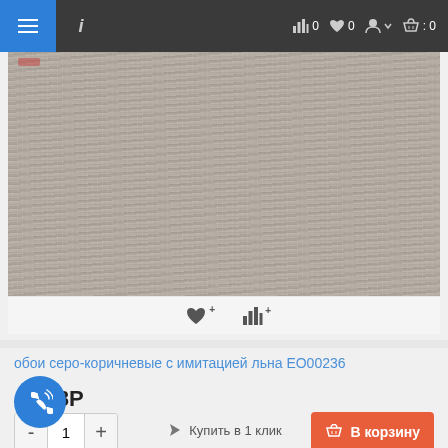Navigation bar with hamburger menu, info icon, bar chart icon (0), heart icon (0), user icon, basket icon (0)
[Figure (photo): Product photo showing grey-brown wallpaper with linen texture imitation (EO00236). Below the image are a heart (favourite) button and a bar chart (compare) button.]
обои серо-коричневые с имитацией льна ЕО00236
4 988Р
- 1 + В корзину
Купить в 1 клик